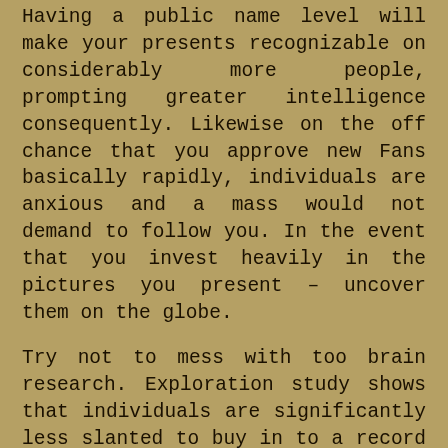Having a public name level will make your presents recognizable on considerably more people, prompting greater intelligence consequently. Likewise on the off chance that you approve new Fans basically rapidly, individuals are anxious and a mass would not demand to follow you. In the event that you invest heavily in the pictures you present – uncover them on the globe.
Try not to mess with too brain research. Exploration study shows that individuals are significantly less slanted to buy in to a record that is not unfathomably well known. Furthermore, perhaps extra altogether, Tiktok tracks the qualities of your record – supporter connection, devotee advancement, etc. It implies the